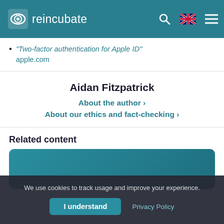reincubate
"Two-factor authentication for Apple ID" apple.com
Aidan Fitzpatrick
About the author › About our ethics and fact-checking ›
Related content
[Figure (other): Teal/green colored card placeholder for related content]
We use cookies to track usage and improve your experience.